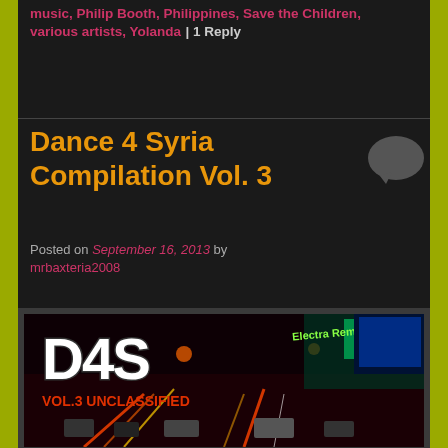music, Philip Booth, Philippines, Save the Children, various artists, Yolanda | 1 Reply
Dance 4 Syria Compilation Vol. 3
[Figure (illustration): Comment bubble icon in dark grey]
Posted on September 16, 2013 by mrbaxteria2008
[Figure (photo): Album cover for Dance 4 Syria Compilation Vol. 3 Unclassified (D4S logo in white with red VOL.3 UNCLASSIFIED text, night city street scene background, green Electra Remix text top right)]